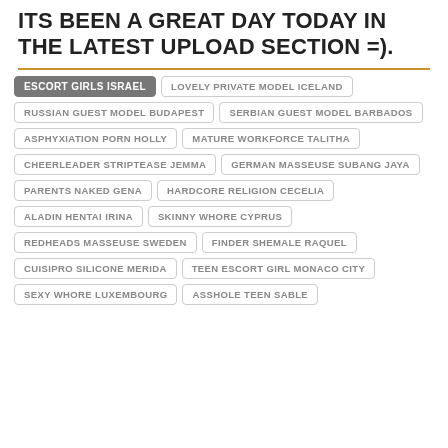ITS BEEN A GREAT DAY TODAY IN THE LATEST UPLOAD SECTION =).
ESCORT GIRLS ISRAEL
LOVELY PRIVATE MODEL ICELAND
RUSSIAN GUEST MODEL BUDAPEST
SERBIAN GUEST MODEL BARBADOS
ASPHYXIATION PORN HOLLY
MATURE WORKFORCE TALITHA
CHEERLEADER STRIPTEASE JEMMA
GERMAN MASSEUSE SUBANG JAYA
PARENTS NAKED GENA
HARDCORE RELIGION CECELIA
ALADIN HENTAI IRINA
SKINNY WHORE CYPRUS
REDHEADS MASSEUSE SWEDEN
FINDER SHEMALE RAQUEL
CUISIPRO SILICONE MERIDA
TEEN ESCORT GIRL MONACO CITY
SEXY WHORE LUXEMBOURG
ASSHOLE TEEN SABLE